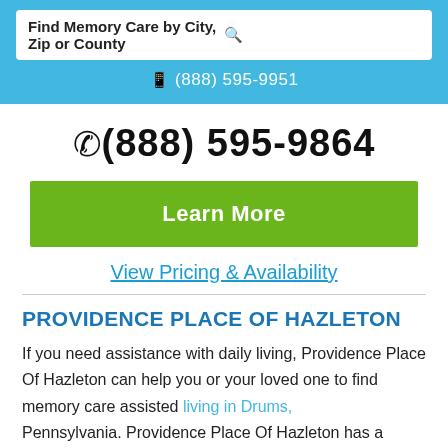Find Memory Care by City, Zip or County
(888) 595-9951
(888) 595-9864
Learn More
View Pricing & Availability
PROVIDENCE PLACE OF HAZLETON
If you need assistance with daily living, Providence Place Of Hazleton can help you or your loved one to find memory care assisted living in Drums, Pennsylvania. Providence Place Of Hazleton has a